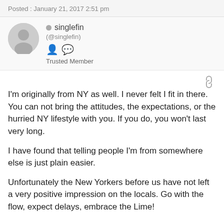Posted : January 21, 2017 2:51 pm
singlefin (@singlefin) Trusted Member
I'm originally from NY as well. I never felt I fit in there. You can not bring the attitudes, the expectations, or the hurried NY lifestyle with you. If you do, you won't last very long.

I have found that telling people I'm from somewhere else is just plain easier.

Unfortunately the New Yorkers before us have not left a very positive impression on the locals. Go with the flow, expect delays, embrace the Lime!